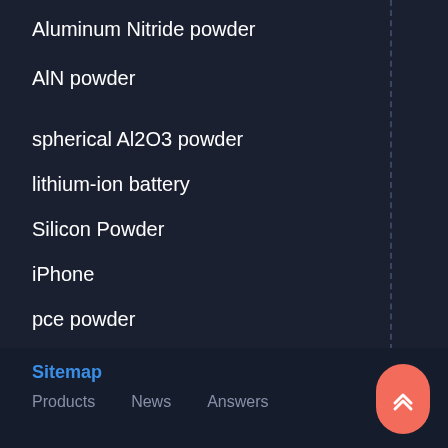Aluminum Nitride powder
AlN powder
spherical Al2O3 powder
lithium-ion battery
Silicon Powder
iPhone
pce powder
Cumulative
Concrete Foaming Agent
Sitemap  Products  News  Answers